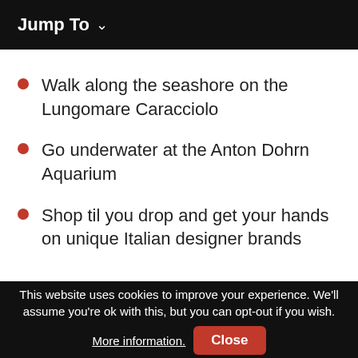Jump To ∨
Walk along the seashore on the Lungomare Caracciolo
Go underwater at the Anton Dohrn Aquarium
Shop til you drop and get your hands on unique Italian designer brands
This website uses cookies to improve your experience. We'll assume you're ok with this, but you can opt-out if you wish. More information. Close